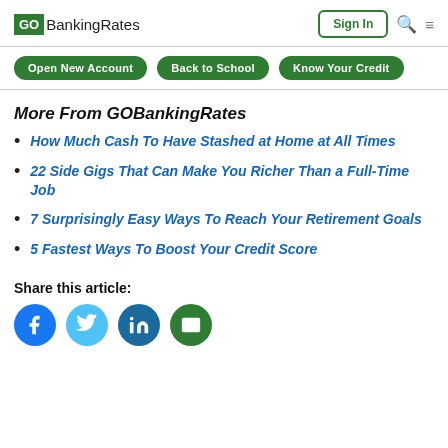GOBankingRates | Sign In
Open New Account | Back to School | Know Your Credit
More From GOBankingRates
How Much Cash To Have Stashed at Home at All Times
22 Side Gigs That Can Make You Richer Than a Full-Time Job
7 Surprisingly Easy Ways To Reach Your Retirement Goals
5 Fastest Ways To Boost Your Credit Score
Share this article:
[Figure (infographic): Social share icons: Facebook, Twitter, LinkedIn, Email]